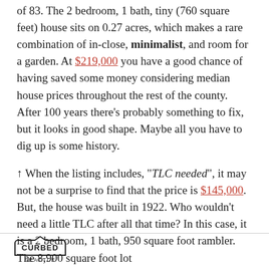of 83. The 2 bedroom, 1 bath, tiny (760 square feet) house sits on 0.27 acres, which makes a rare combination of in-close, minimalist, and room for a garden. At $219,000 you have a good chance of having saved some money considering median house prices throughout the rest of the county. After 100 years there's probably something to fix, but it looks in good shape. Maybe all you have to dig up is some history.
↑ When the listing includes, "TLC needed", it may not be a surprise to find that the price is $145,000. But, the house was built in 1922. Who wouldn't need a little TLC after all that time? In this case, it is a 2 bedroom, 1 bath, 950 square foot rambler. The 8,900 square foot lot
CURBED SEATTLE